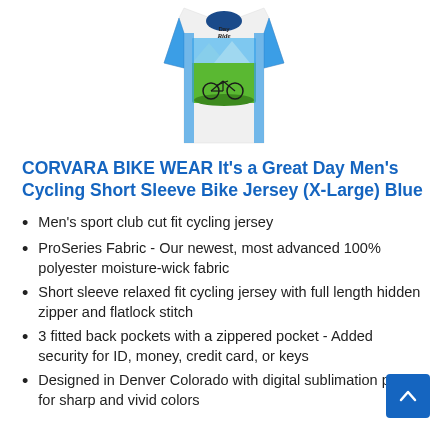[Figure (photo): Product photo of a cycling jersey with blue, white and green colors showing a bicycle and 'Day to Ride' text graphic]
CORVARA BIKE WEAR It's a Great Day Men's Cycling Short Sleeve Bike Jersey (X-Large) Blue
Men's sport club cut fit cycling jersey
ProSeries Fabric - Our newest, most advanced 100% polyester moisture-wick fabric
Short sleeve relaxed fit cycling jersey with full length hidden zipper and flatlock stitch
3 fitted back pockets with a zippered pocket - Added security for ID, money, credit card, or keys
Designed in Denver Colorado with digital sublimation print for sharp and vivid colors